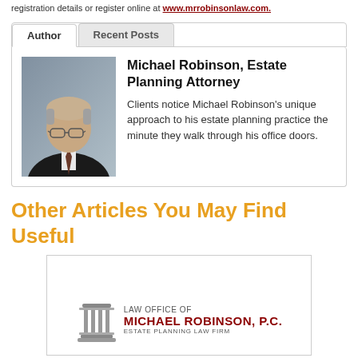registration details or register online at www.mrrobinsonlaw.com.
Author | Recent Posts
Michael Robinson, Estate Planning Attorney
Clients notice Michael Robinson's unique approach to his estate planning practice the minute they walk through his office doors.
Other Articles You May Find Useful
[Figure (logo): Law Office of Michael Robinson, P.C. Estate Planning Law Firm logo with pillar icon]